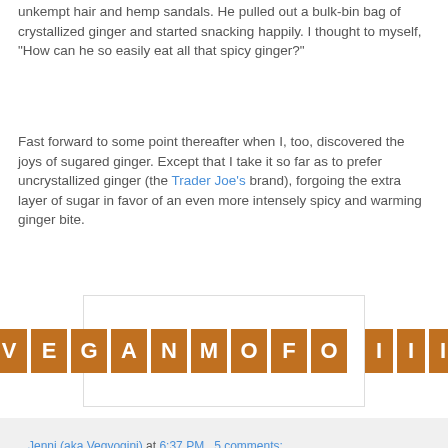unkempt hair and hemp sandals. He pulled out a bulk-bin bag of crystallized ginger and started snacking happily. I thought to myself, "How can he so easily eat all that spicy ginger?"
Fast forward to some point thereafter when I, too, discovered the joys of sugared ginger. Except that I take it so far as to prefer uncrystallized ginger (the Trader Joe's brand), forgoing the extra layer of sugar in favor of an even more intensely spicy and warming ginger bite.
[Figure (logo): VeganMoFo III logo — orange tile letters spelling VEGANMOFO III on white background with border]
Jenni (aka Vegyogini) at 6:37 PM   5 comments:
VeganMoFo: Peanut "Better" Cookies